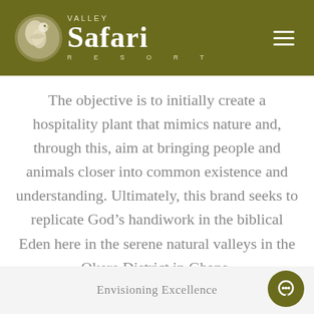[Figure (logo): Valley Safari Resort logo: circular emblem with a bird silhouette in white/cream tones, alongside the text 'VALLEY' in small caps, 'Safari' in large serif font, and 'RESORT' in spaced caps, all in white/cream on olive-green background. Hamburger menu icon in top right.]
The objective is to initially create a hospitality plant that mimics nature and, through this, aim at bringing people and animals closer into common existence and understanding. Ultimately, this brand seeks to replicate God's handiwork in the biblical Eden here in the serene natural valleys in the Okere District in Ghana.
Envisioning Excellence